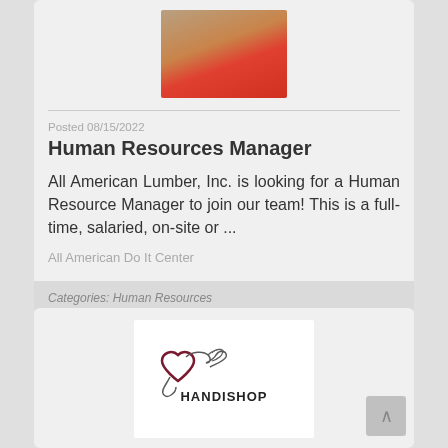[Figure (photo): Photo of person at a red table, partially visible at top of card]
Posted 08/15/2022
Human Resources Manager
All American Lumber, Inc. is looking for a Human Resource Manager to join our team! This is a full-time, salaried, on-site or ...
All American Do It Center
Categories: Human Resources
[Figure (logo): Handishop logo with stylized heart and hand graphic above text HANDISHOP]